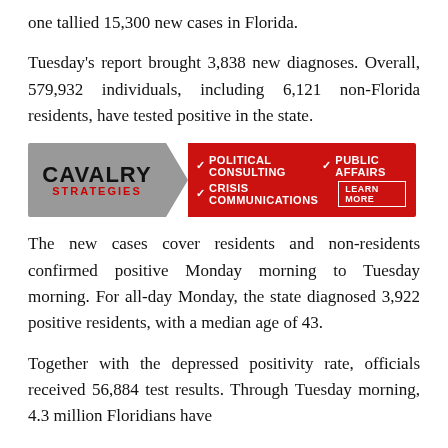one tallied 15,300 new cases in Florida.
Tuesday's report brought 3,838 new diagnoses. Overall, 579,932 individuals, including 6,121 non-Florida residents, have tested positive in the state.
[Figure (other): Cavalry Strategies advertisement banner with red background. Services listed: Political Consulting, Public Affairs, Crisis Communications. Learn More button.]
The new cases cover residents and non-residents confirmed positive Monday morning to Tuesday morning. For all-day Monday, the state diagnosed 3,922 positive residents, with a median age of 43.
Together with the depressed positivity rate, officials received 56,884 test results. Through Tuesday morning, 4.3 million Floridians have